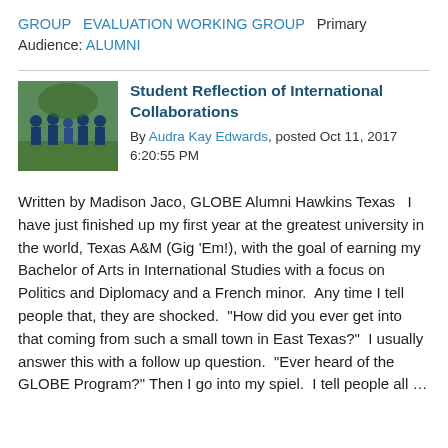GROUP  EVALUATION WORKING GROUP  Primary Audience: ALUMNI
Student Reflection of International Collaborations
By Audra Kay Edwards, posted Oct 11, 2017 6:20:55 PM
Written by Madison Jaco, GLOBE Alumni Hawkins Texas  I have just finished up my first year at the greatest university in the world, Texas A&M (Gig 'Em!), with the goal of earning my Bachelor of Arts in International Studies with a focus on Politics and Diplomacy and a French minor.  Any time I tell people that, they are shocked.  "How did you ever get into that coming from such a small town in East Texas?"  I usually answer this with a follow up question.  "Ever heard of the GLOBE Program?" Then I go into my spiel.  I tell people all …